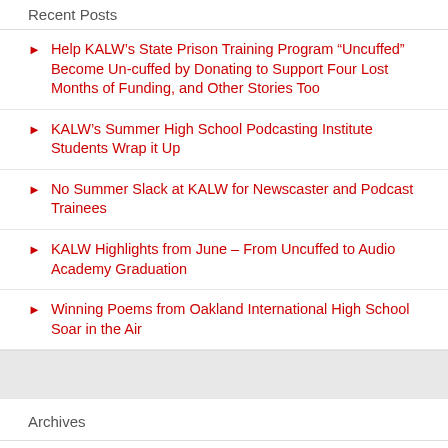Recent Posts
Help KALW’s State Prison Training Program “Uncuffed” Become Un-cuffed by Donating to Support Four Lost Months of Funding, and Other Stories Too
KALW’s Summer High School Podcasting Institute Students Wrap it Up
No Summer Slack at KALW for Newscaster and Podcast Trainees
KALW Highlights from June – From Uncuffed to Audio Academy Graduation
Winning Poems from Oakland International High School Soar in the Air
Archives
August 2022